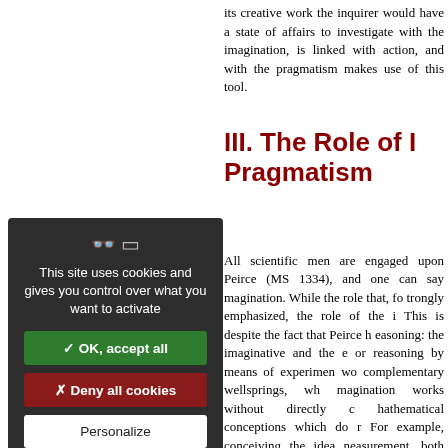its creative work the inquirer would have a state of affairs to investigate with the imagination, is linked with action, and with the pragmatism makes use of this tool.
III. The Role of I… Pragmatism
All scientific men are engaged upon Peirce (MS 1334), and one can say magination. While the role that, fo trongly emphasized, the role of the i This is despite the fact that Peirce h easoning: the imaginative and the e or reasoning by means of experimen wo complementary wellsprings, wh magination works without directly ¢ hathematical conceptions which do r For example, conceiving the idea neasurement, both take place in the pf things, and mathematicians exer plve pure mathematical problems reative work of the mathematical im 2009: 138).
This site uses cookies and gives you control over what you want to activate
✓ OK, accept all
✗ Deny all cookies
Personalize
Privacy policy